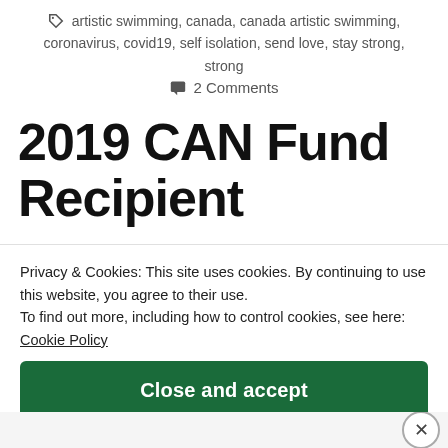artistic swimming, canada, canada artistic swimming, coronavirus, covid19, self isolation, send love, stay strong, strong
2 Comments
2019 CAN Fund Recipient
Privacy & Cookies: This site uses cookies. By continuing to use this website, you agree to their use.
To find out more, including how to control cookies, see here:
Cookie Policy
Close and accept